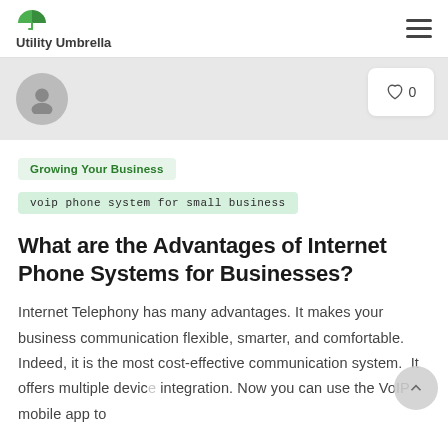Utility Umbrella
Growing Your Business
voip phone system for small business
What are the Advantages of Internet Phone Systems for Businesses?
Internet Telephony has many advantages. It makes your business communication flexible, smarter, and comfortable. Indeed, it is the most cost-effective communication system. It offers multiple device integration. Now you can use the VoIP mobile app to